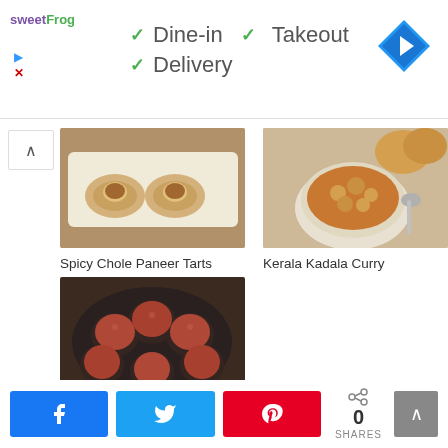[Figure (logo): sweetFrog logo in purple and green]
✓ Dine-in  ✓ Takeout
✓ Delivery
[Figure (other): Blue diamond navigation/directions arrow icon]
[Figure (photo): Spicy Chole Paneer Tarts - paneer tart shells on white plate]
Spicy Chole Paneer Tarts
[Figure (photo): Kerala Kadala Curry - chickpea curry in bowl with spoon]
Kerala Kadala Curry
[Figure (photo): Beets Vadai Recipe - round vadai in dark pan]
Beets Vadai Recipe
0
SHARES